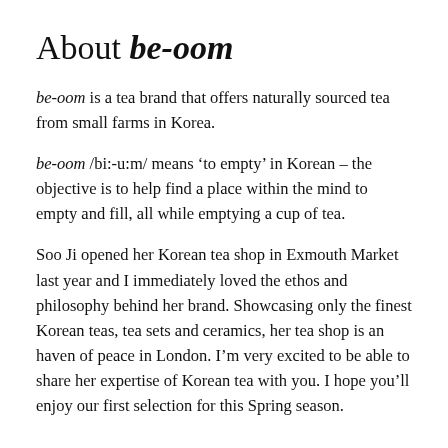About be-oom
be-oom is a tea brand that offers naturally sourced tea from small farms in Korea.
be-oom /bi:-u:m/ means ‘to empty’ in Korean – the objective is to help find a place within the mind to empty and fill, all while emptying a cup of tea.
Soo Ji opened her Korean tea shop in Exmouth Market last year and I immediately loved the ethos and philosophy behind her brand. Showcasing only the finest Korean teas, tea sets and ceramics, her tea shop is an haven of peace in London. I’m very excited to be able to share her expertise of Korean tea with you. I hope you’ll enjoy our first selection for this Spring season.
About the tea farm
Bo Cho is a small tea farm located in Boseong. Bo Cho…